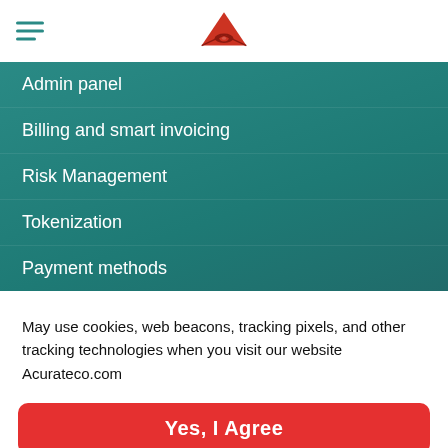[Logo: Acurateco]
Admin panel
Billing and smart invoicing
Risk Management
Tokenization
Payment methods
May use cookies, web beacons, tracking pixels, and other tracking technologies when you visit our website Acurateco.com
Yes, I Agree